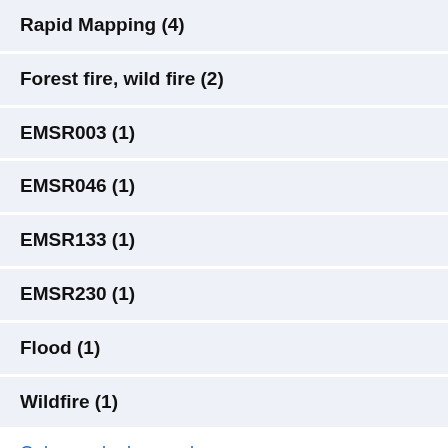Rapid Mapping (4)
Forest fire, wild fire (2)
EMSR003 (1)
EMSR046 (1)
EMSR133 (1)
EMSR230 (1)
Flood (1)
Wildfire (1)
Only popular keywords ∧
Science Areas
Safety and security (4)